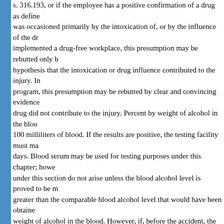s. 316.193, or if the employee has a positive confirmation of a drug as defined was occasioned primarily by the intoxication of, or by the influence of the dr implemented a drug-free workplace, this presumption may be rebutted only b hypothesis that the intoxication or drug influence contributed to the injury. In program, this presumption may be rebutted by clear and convincing evidence drug did not contribute to the injury. Percent by weight of alcohol in the bloo 100 milliliters of blood. If the results are positive, the testing facility must ma days. Blood serum may be used for testing purposes under this chapter; howe under this section do not arise unless the blood alcohol level is proved to be m greater than the comparable blood alcohol level that would have been obtained weight of alcohol in the blood. However, if, before the accident, the employee acquiesced in the employee's presence at the workplace while under the influ presumptions specified in this subsection do not apply.
(c) If the injured worker refuses to submit to a drug test, it shall be presu evidence to the contrary that the injury was occasioned primarily by the influ
(d) The agency shall provide by rule for the authorization and regulation methods. Testing of injured employees shall not commence until such rules a
(e) As a part of rebutting any presumptions under paragraph (b), the inju quantitative amounts of the drug or its metabolites as measured on the initial of the injured worker's urine sample and provide additional evidence regardi the worker's denial of being under the influence of a drug. No drug test cond to its results or the presumption imposed under paragraph (b) on the basis of
(8) If, by operation of s. 440.04, benefits become payable to a professio